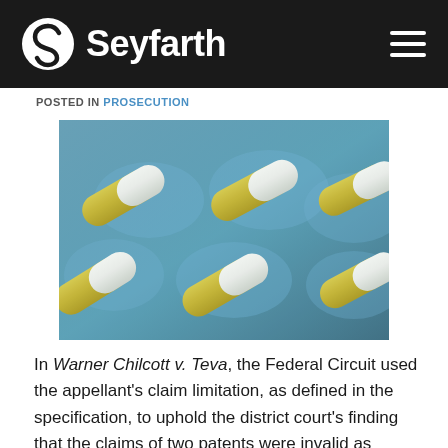Seyfarth
POSTED IN PROSECUTION
[Figure (photo): Close-up photograph of white and yellow capsule pills in a blister pack on a blue background]
In Warner Chilcott v. Teva, the Federal Circuit used the appellant's claim limitation, as defined in the specification, to uphold the district court's finding that the claims of two patents were invalid as